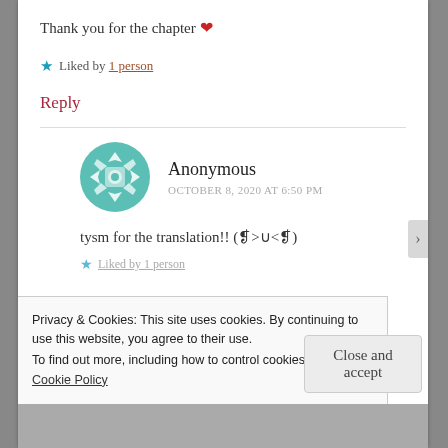Thank you for the chapter ❤
★ Liked by 1 person
Reply
Anonymous
OCTOBER 8, 2020 AT 6:50 PM
tysm for the translation!! (♡>∪<♡)
★ Liked by 1 person
Privacy & Cookies: This site uses cookies. By continuing to use this website, you agree to their use.
To find out more, including how to control cookies, see here: Cookie Policy
Close and accept